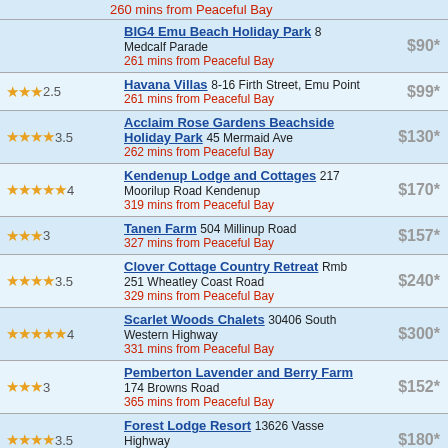260 mins from Peaceful Bay
BIG4 Emu Beach Holiday Park 8 Medcalf Parade | 261 mins from Peaceful Bay | $90*
Havana Villas 8-16 Firth Street, Emu Point | 261 mins from Peaceful Bay | $99* | 2.5 stars
Acclaim Rose Gardens Beachside Holiday Park 45 Mermaid Ave | 262 mins from Peaceful Bay | $130* | 3.5 stars
Kendenup Lodge and Cottages 217 Moorilup Road Kendenup | 319 mins from Peaceful Bay | $170* | 4 stars
Tanen Farm 504 Millinup Road | 327 mins from Peaceful Bay | $157* | 3 stars
Clover Cottage Country Retreat Rmb 251 Wheatley Coast Road | 329 mins from Peaceful Bay | $240* | 3.5 stars
Scarlet Woods Chalets 30406 South Western Highway | 331 mins from Peaceful Bay | $300* | 4 stars
Pemberton Lavender and Berry Farm 174 Browns Road | 365 mins from Peaceful Bay | $152* | 3 stars
Forest Lodge Resort 13626 Vasse Highway | 369 mins from Peaceful Bay | $180* | 3.5 stars
Karri Forest Motel 20-26 Widdeson Street | 369 mins from Peaceful Bay | $99* | 3.5 stars